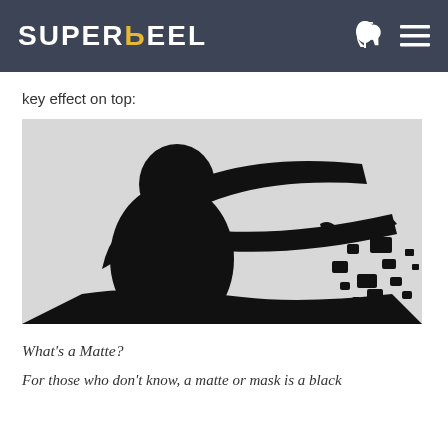SUPERREEL
key effect on top:
[Figure (photo): High-contrast black and white silhouette image of a person with arms outstretched, appearing to throw or scatter dark particles/fragments against a light grey background. The image demonstrates a matte/chroma key effect.]
What's a Matte?
For those who don't know, a matte or mask is a black